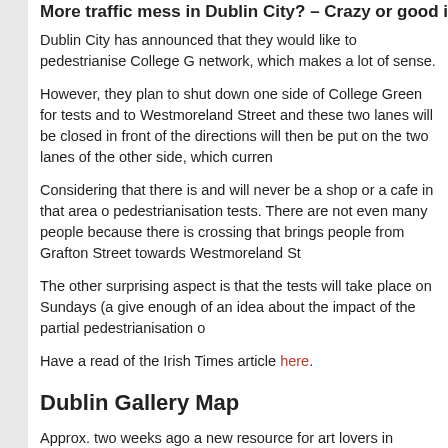More traffic mess in Dublin City? – Crazy or good idea...
Dublin City has announced that they would like to pedestrianise College G... network, which makes a lot of sense.
However, they plan to shut down one side of College Green for tests and... to Westmoreland Street and these two lanes will be closed in front of the... directions will then be put on the two lanes of the other side, which curren...
Considering that there is and will never be a shop or a cafe in that area o... pedestrianisation tests. There are not even many people because there is... crossing that brings people from Grafton Street towards Westmoreland St...
The other surprising aspect is that the tests will take place on Sundays (a... give enough of an idea about the impact of the partial pedestrianisation o...
Have a read of the Irish Times article here.
Dublin Gallery Map
Approx. two weeks ago a new resource for art lovers in Dublin and for tou... you the locations of galleries in Dublin. The map will be available in printe... there is also an online version at www.dublingallerymap.ie/
Some might think the map is a little too niche-ey, but I think its a good idea... on the map. It's not THAT easy to miss them or not that difficult to find the... There is no Centre for Creative Practices on the map, the Oriel Gallery is... Balla Ban, the ! And these are just five that I could think of immediately w...